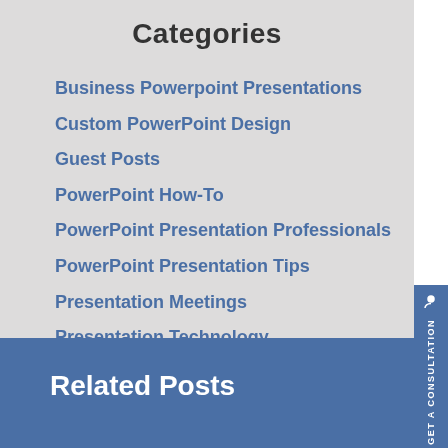Categories
Business Powerpoint Presentations
Custom PowerPoint Design
Guest Posts
PowerPoint How-To
PowerPoint Presentation Professionals
PowerPoint Presentation Tips
Presentation Meetings
Presentation Technology
Professional Powerpoint Presentations
Related Posts